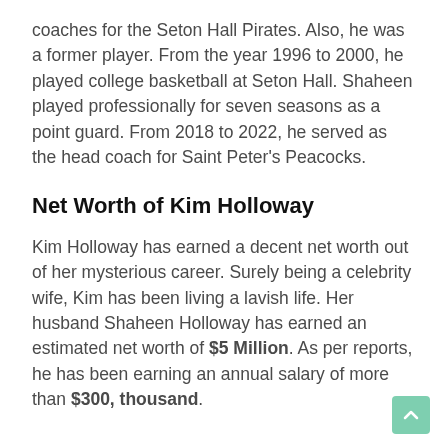coaches for the Seton Hall Pirates. Also, he was a former player. From the year 1996 to 2000, he played college basketball at Seton Hall. Shaheen played professionally for seven seasons as a point guard. From 2018 to 2022, he served as the head coach for Saint Peter's Peacocks.
Net Worth of Kim Holloway
Kim Holloway has earned a decent net worth out of her mysterious career. Surely being a celebrity wife, Kim has been living a lavish life. Her husband Shaheen Holloway has earned an estimated net worth of $5 Million. As per reports, he has been earning an annual salary of more than $300, thousand.